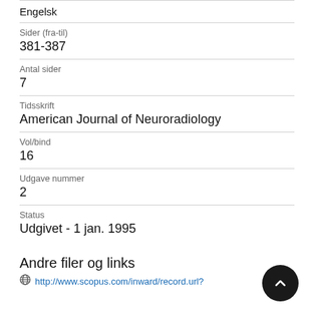Engelsk
Sider (fra-til)
381-387
Antal sider
7
Tidsskrift
American Journal of Neuroradiology
Vol/bind
16
Udgave nummer
2
Status
Udgivet - 1 jan. 1995
Andre filer og links
http://www.scopus.com/inward/record.url?